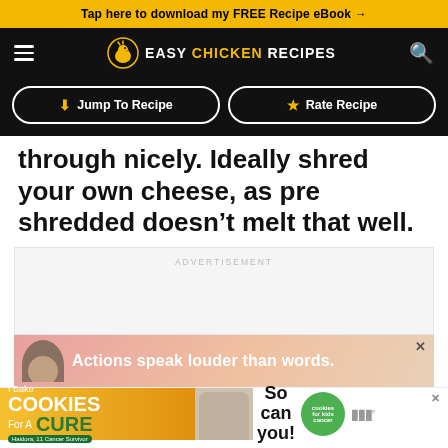Tap here to download my FREE Recipe eBook →
[Figure (logo): Easy Chicken Recipes logo with hamburger menu and search icon on black navbar]
[Figure (screenshot): Jump To Recipe and Rate Recipe buttons]
through nicely. Ideally shred your own cheese, as pre shredded doesn't melt that well.
ADVERTISEMENT
[Figure (photo): Advertisement banner: Actions speak louder than words.]
[Figure (photo): Advertisement: I Bake Cookies For A Cure - Haidora, 11 Cancer Survivor - So can you! - cookies for kids cancer]